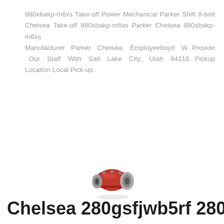880xbakp-m6xs Take-off Power Mechanical Parker Shift 8-bolt Chelsea Take-off 880xbakp-m6xs Parker Chelsea 880xbakp-m6xs Manufacturer Parker Chelsea. Employeeboyd W. Provide Our Staff With Salt Lake City, Utah 84116. Pickup Location Local Pick-up.
[Figure (photo): A small red and silver mechanical power take-off unit (Chelsea 280gsfjwb5rf 280), photographed against a white background.]
Chelsea 280gsfjwb5rf 280